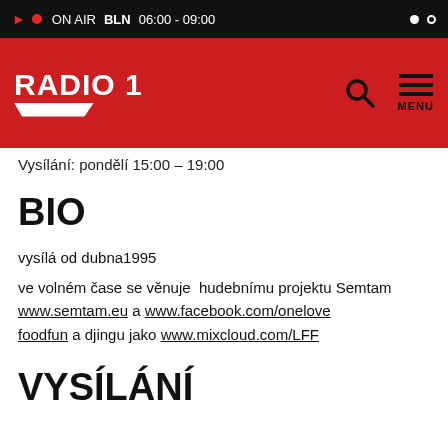▶ ● ON AIR BLN 06:00 - 09:00 ● ○
[Figure (logo): Radio 1 logo in white on red background with white chevron underline]
Vysílání: pondělí 15:00 – 19:00
BIO
vysílá od dubna1995
ve volném čase se věnuje  hudebnímu projektu Semtam www.semtam.eu a www.facebook.com/onelovefoodfun a djingu jako www.mixcloud.com/LFF
VYSÍLÁNÍ